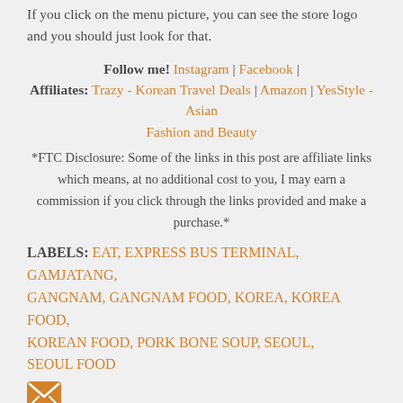If you click on the menu picture, you can see the store logo and you should just look for that.
Follow me! Instagram | Facebook |
Affiliates: Trazy - Korean Travel Deals | Amazon | YesStyle - Asian Fashion and Beauty
*FTC Disclosure: Some of the links in this post are affiliate links which means, at no additional cost to you, I may earn a commission if you click through the links provided and make a purchase.*
LABELS: EAT, EXPRESS BUS TERMINAL, GAMJATANG, GANGNAM, GANGNAM FOOD, KOREA, KOREA FOOD, KOREAN FOOD, PORK BONE SOUP, SEOUL, SEOUL FOOD
[Figure (illustration): Orange envelope/email icon]